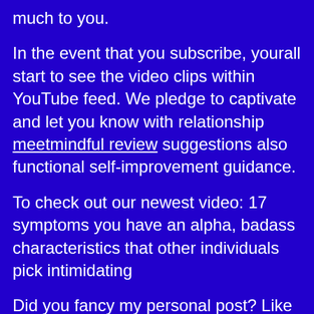much to you.
In the event that you subscribe, yourall start to see the video clips within YouTube feed. We pledge to captivate and let you know with relationship meetmindful review suggestions also functional self-improvement guidance.
To check out our newest video: 17 symptoms you have an alpha, badass characteristics that other individuals pick intimidating
Did you fancy my personal post? Like me on fb observe most reports like this inside feed.